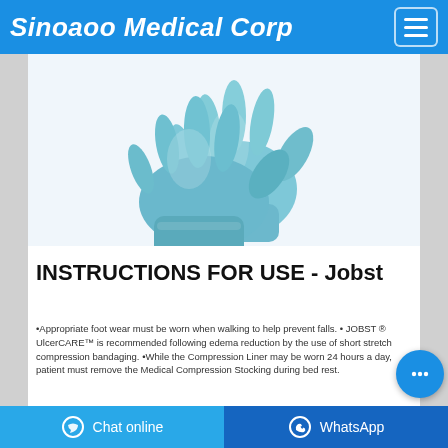Sinoaoo Medical Corp
[Figure (photo): Two light blue nitrile medical examination gloves displayed against a white background, with fingers spread open.]
INSTRUCTIONS FOR USE - Jobst
•Appropriate foot wear must be worn when walking to help prevent falls. • JOBST ® UlcerCARE™ is recommended following edema reduction by the use of short stretch compression bandaging. •While the Compression Liner may be worn 24 hours a day, patient must remove the Medical Compression Stocking during bed rest.
Chat online   WhatsApp